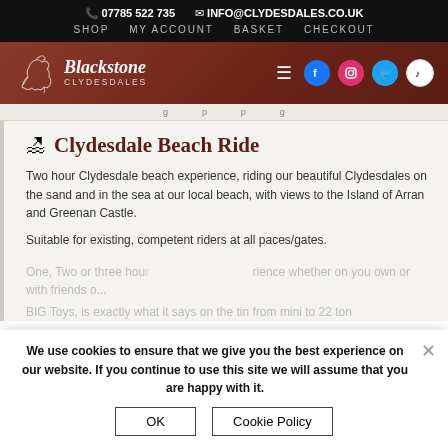📞 07785 522 735   ✉ INFO@CLYDESDALES.CO.UK
SHOP   MY ACCOUNT   BASKET   CHECKOUT
[Figure (logo): Blackstone Clydesdales logo with white horse silhouette on brown background, social media icons for Facebook, Instagram, Twitter/X, TikTok]
g p p g
🏖 Clydesdale Beach Ride
Two hour Clydesdale beach experience, riding our beautiful Clydesdales on the sand and in the sea at our local beach, with views to the Island of Arran and Greenan Castle.
Suitable for existing, competent riders at all paces/gates.
One, Two or three hour ... experience whether on you own or with friends ...
BIG Toys, is exactly what it says on the tin from mini to 22 ton
We use cookies to ensure that we give you the best experience on our website. If you continue to use this site we will assume that you are happy with it. OK   Cookie Policy